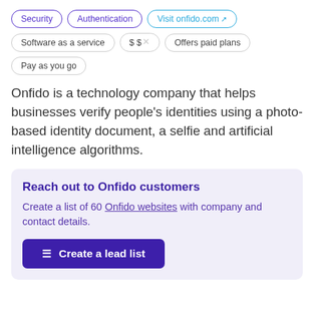Security
Authentication
Visit onfido.com
Software as a service
$ $ (strikethrough)
Offers paid plans
Pay as you go
Onfido is a technology company that helps businesses verify people's identities using a photo-based identity document, a selfie and artificial intelligence algorithms.
Reach out to Onfido customers
Create a list of 60 Onfido websites with company and contact details.
Create a lead list